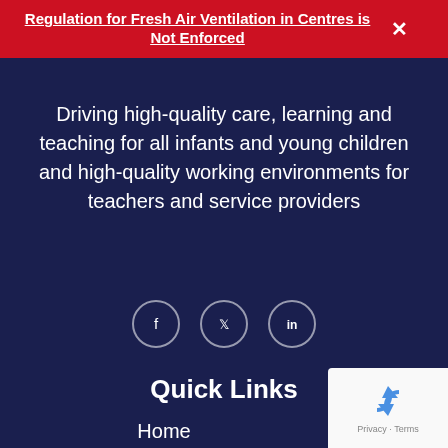Regulation for Fresh Air Ventilation in Centres is Not Enforced
Driving high-quality care, learning and teaching for all infants and young children and high-quality working environments for teachers and service providers
[Figure (infographic): Three circular social media icons (Facebook, Twitter/X, LinkedIn) with white outlines on dark navy background]
Quick Links
Home
About Us
Members Area
[Figure (infographic): Google reCAPTCHA badge with recycling-arrow logo and Privacy - Terms text]